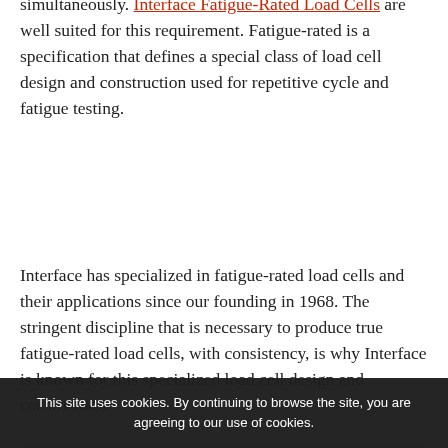simultaneously. Interface Fatigue-Rated Load Cells are well suited for this requirement. Fatigue-rated is a specification that defines a special class of load cell design and construction used for repetitive cycle and fatigue testing.
Interface has specialized in fatigue-rated load cells and their applications since our founding in 1968. The stringent discipline that is necessary to produce true fatigue-rated load cells, with consistency, is why Interface is known for this specialized load cell design and construction.
This site uses cookies. By continuing to browse the site, you are agreeing to our use of cookies.
OK
×
100 million fully reversed, full capacity loading